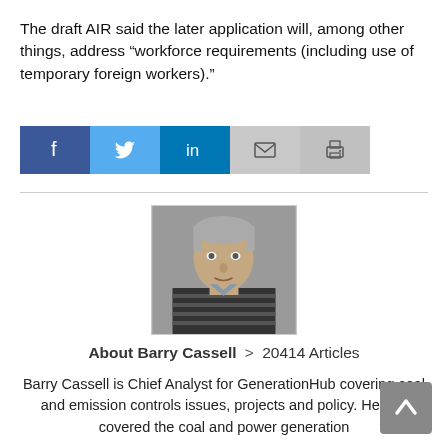The draft AIR said the later application will, among other things, address “workforce requirements (including use of temporary foreign workers).”
[Figure (infographic): Social media share buttons: Facebook (blue), Twitter (light blue), LinkedIn (dark blue), Email (light gray), Print (gray)]
[Figure (photo): Headshot photo of Barry Cassell, a middle-aged man with gray hair wearing a striped sweater]
About Barry Cassell > 20414 Articles
Barry Cassell is Chief Analyst for GenerationHub covering coal and emission controls issues, projects and policy. He has covered the coal and power generation